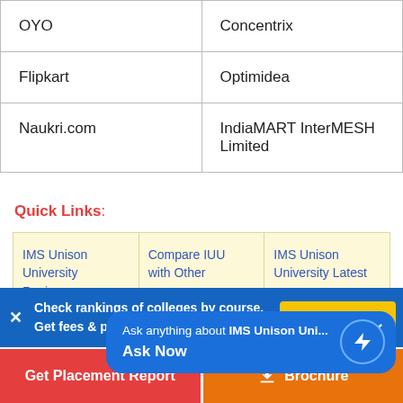| OYO | Concentrix |
| Flipkart | Optimidea |
| Naukri.com | IndiaMART InterMESH Limited |
Quick Links:
IMS Unison University Reviews
Compare IUU with Other...
IMS Unison University Latest...
Ask anything about IMS Unison Uni...
Ask Now
IMS Unison University Placement FAQs
Check rankings of colleges by course.
Get fees & placements
Get Placement Report
Brochure